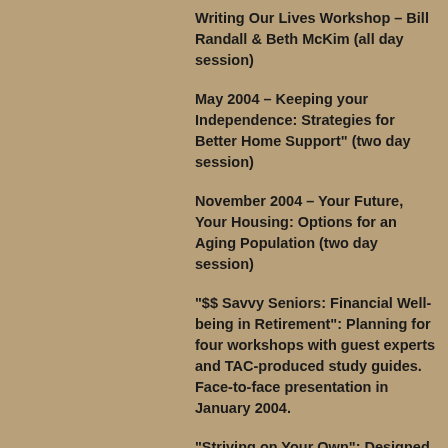Writing Our Lives Workshop – Bill Randall & Beth McKim (all day session)
May 2004 – Keeping your Independence: Strategies for Better Home Support" (two day session)
November 2004 – Your Future, Your Housing: Options for an Aging Population (two day session)
"$$ Savvy Seniors: Financial Well-being in Retirement": Planning for four workshops with guest experts and TAC-produced study guides. Face-to-face presentation in January 2004.
"Striving on Your Own": Designed by